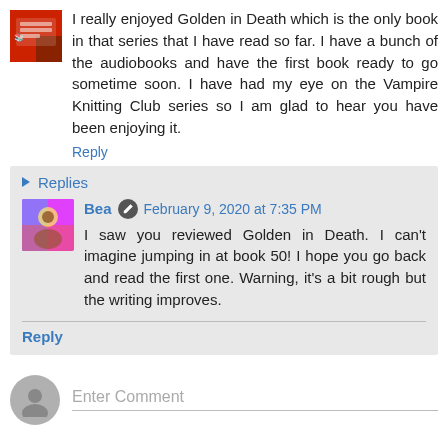I really enjoyed Golden in Death which is the only book in that series that I have read so far. I have a bunch of the audiobooks and have the first book ready to go sometime soon. I have had my eye on the Vampire Knitting Club series so I am glad to hear you have been enjoying it.
Reply
Replies
Bea  February 9, 2020 at 7:35 PM
I saw you reviewed Golden in Death. I can't imagine jumping in at book 50! I hope you go back and read the first one. Warning, it's a bit rough but the writing improves.
Reply
Enter Comment